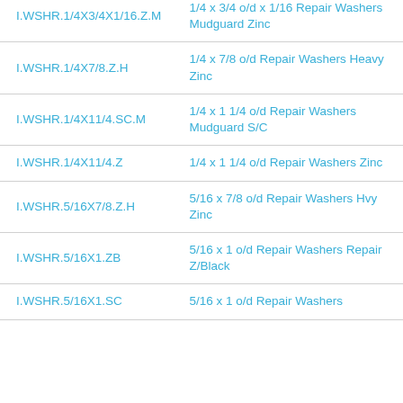| Part Number | Description |
| --- | --- |
| I.WSHR.1/4X3/4X1/16.Z.M | 1/4 x 3/4 o/d x 1/16 Repair Washers Mudguard Zinc |
| I.WSHR.1/4X7/8.Z.H | 1/4 x 7/8 o/d Repair Washers Heavy Zinc |
| I.WSHR.1/4X11/4.SC.M | 1/4 x 1 1/4 o/d Repair Washers Mudguard S/C |
| I.WSHR.1/4X11/4.Z | 1/4 x 1 1/4 o/d Repair Washers Zinc |
| I.WSHR.5/16X7/8.Z.H | 5/16 x 7/8 o/d Repair Washers Hvy Zinc |
| I.WSHR.5/16X1.ZB | 5/16 x 1 o/d Repair Washers Repair Z/Black |
| I.WSHR.5/16X1.SC | 5/16 x 1 o/d Repair Washers |